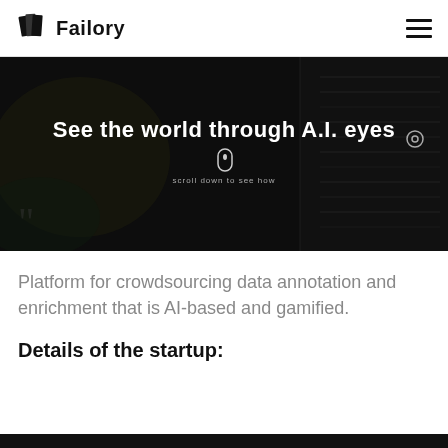Failory
[Figure (screenshot): Dark hero banner with text 'See the world through A.I. eyes' and a scroll indicator with text 'scroll down to see how']
Platform for crowdsourcing data annotation and enrichment that is AI-based and gamified.
Details of the startup: